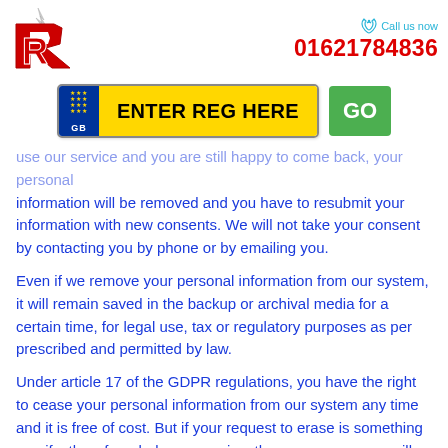[Figure (logo): Red stylized R letter logo with flame/spike on top]
Call us now
01621784836
[Figure (other): UK vehicle registration plate input with yellow background saying ENTER REG HERE, blue EU section with GB, and green GO button]
use our service and you are still happy to come back, your personal information will be removed and you have to resubmit your information with new consents. We will not take your consent by contacting you by phone or by emailing you.
Even if we remove your personal information from our system, it will remain saved in the backup or archival media for a certain time, for legal use, tax or regulatory purposes as per prescribed and permitted by law.
Under article 17 of the GDPR regulations, you have the right to cease your personal information from our system any time and it is free of cost. But if your request to erase is something manifestly unfounded or excessive, the erasure process will cost us the time of data protection team plus development team to remove your information from our system and to store a copy if any...